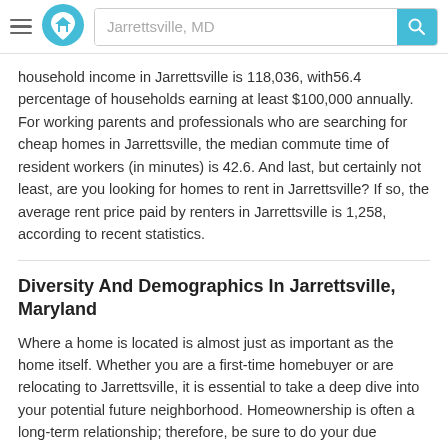Jarrettsville, MD
household income in Jarrettsville is 118,036, with56.4 percentage of households earning at least $100,000 annually. For working parents and professionals who are searching for cheap homes in Jarrettsville, the median commute time of resident workers (in minutes) is 42.6. And last, but certainly not least, are you looking for homes to rent in Jarrettsville? If so, the average rent price paid by renters in Jarrettsville is 1,258, according to recent statistics.
Diversity And Demographics In Jarrettsville, Maryland
Where a home is located is almost just as important as the home itself. Whether you are a first-time homebuyer or are relocating to Jarrettsville, it is essential to take a deep dive into your potential future neighborhood. Homeownership is often a long-term relationship; therefore, be sure to do your due diligence to ensure that you make the best long-term decision.
The median age of residents in Jarrettsville is 45.1, split between